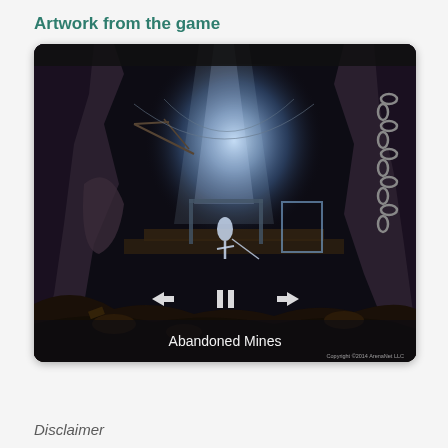Artwork from the game
[Figure (illustration): Game artwork slideshow showing 'Abandoned Mines' - a dark fantasy cave scene with dramatic blue lighting from above, rocky cave walls, hanging chains on the right, scattered debris and mechanical structures in the foreground, and a lone figure in the center middle ground. Navigation arrows (left, pause, right) are visible at the bottom center of the image. A copyright watermark is visible at the bottom right.]
Disclaimer